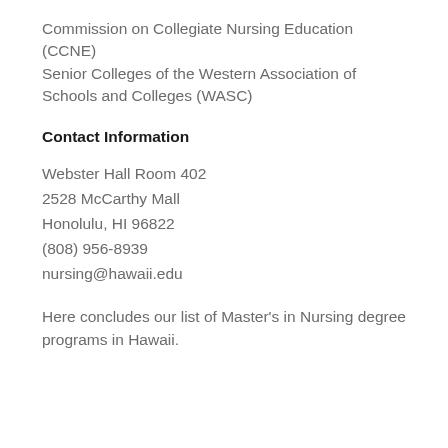Commission on Collegiate Nursing Education (CCNE)
Senior Colleges of the Western Association of Schools and Colleges (WASC)
Contact Information
Webster Hall Room 402
2528 McCarthy Mall
Honolulu, HI 96822
(808) 956-8939
nursing@hawaii.edu
Here concludes our list of Master's in Nursing degree programs in Hawaii.